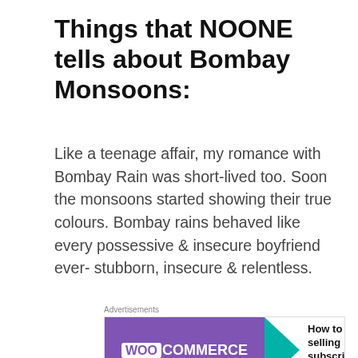Things that NOONE tells about Bombay Monsoons:
Like a teenage affair, my romance with Bombay Rain was short-lived too. Soon the monsoons started showing their true colours. Bombay rains behaved like every possessive & insecure boyfriend ever- stubborn, insecure & relentless.
[Figure (screenshot): WooCommerce advertisement banner: purple left half with WooCommerce logo, green arrow, white right half with text 'How to start selling subscriptions online', orange circle and blue arc decorations]
It would rain when you would get ready for work.
[Figure (screenshot): Day One journaling app advertisement: light blue banner with DAY ONE title, three circular icons (book, person, notepad), and text 'The only journaling app you'll ever need.']